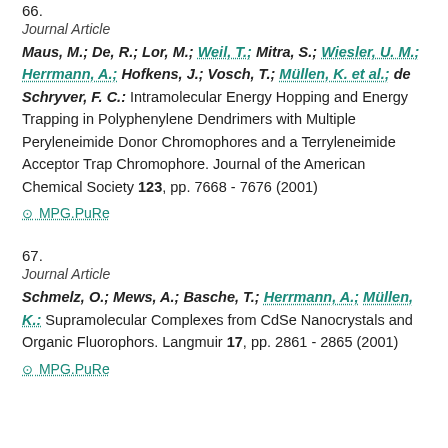66.
Journal Article
Maus, M.; De, R.; Lor, M.; Weil, T.; Mitra, S.; Wiesler, U. M.; Herrmann, A.; Hofkens, J.; Vosch, T.; Müllen, K. et al.; de Schryver, F. C.: Intramolecular Energy Hopping and Energy Trapping in Polyphenylene Dendrimers with Multiple Peryleneimide Donor Chromophores and a Terryleneimide Acceptor Trap Chromophore. Journal of the American Chemical Society 123, pp. 7668 - 7676 (2001)
⊙ MPG.PuRe
67.
Journal Article
Schmelz, O.; Mews, A.; Basche, T.; Herrmann, A.; Müllen, K.: Supramolecular Complexes from CdSe Nanocrystals and Organic Fluorophors. Langmuir 17, pp. 2861 - 2865 (2001)
⊙ MPG.PuRe